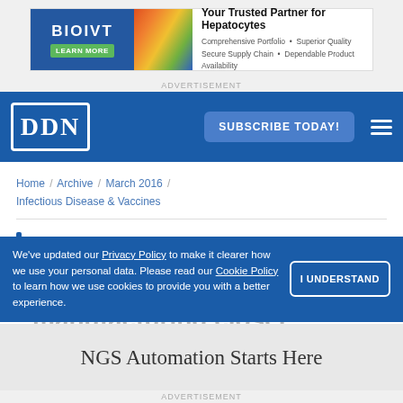[Figure (other): BIOIVT advertisement banner: Your Trusted Partner for Hepatocytes. Comprehensive Portfolio, Superior Quality, Secure Supply Chain, Dependable Product Availability.]
ADVERTISEMENT
DDN  SUBSCRIBE TODAY!
Home / Archive / March 2016 / Infectious Disease & Vaccines
Bringing contract manufacturing closer
We've updated our Privacy Policy to make it clearer how we use your personal data. Please read our Cookie Policy to learn how we use cookies to provide you with a better experience.
[Figure (other): NGS Automation Starts Here advertisement]
ADVERTISEMENT